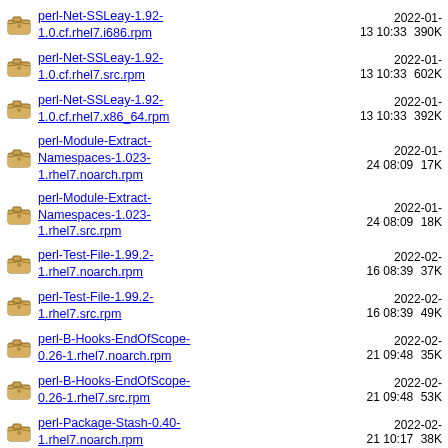perl-Net-SSLeay-1.92-1.0.cf.rhel7.i686.rpm  2022-01-13 10:33  390K
perl-Net-SSLeay-1.92-1.0.cf.rhel7.src.rpm  2022-01-13 10:33  602K
perl-Net-SSLeay-1.92-1.0.cf.rhel7.x86_64.rpm  2022-01-13 10:33  392K
perl-Module-Extract-Namespaces-1.023-1.rhel7.noarch.rpm  2022-01-24 08:09  17K
perl-Module-Extract-Namespaces-1.023-1.rhel7.src.rpm  2022-01-24 08:09  18K
perl-Test-File-1.99.2-1.rhel7.noarch.rpm  2022-02-16 08:39  37K
perl-Test-File-1.99.2-1.rhel7.src.rpm  2022-02-16 08:39  49K
perl-B-Hooks-EndOfScope-0.26-1.rhel7.noarch.rpm  2022-02-21 09:48  35K
perl-B-Hooks-EndOfScope-0.26-1.rhel7.src.rpm  2022-02-21 09:48  53K
perl-Package-Stash-0.40-1.rhel7.noarch.rpm  2022-02-21 10:17  38K
perl-Package-Stash-0.40-  2022-02-